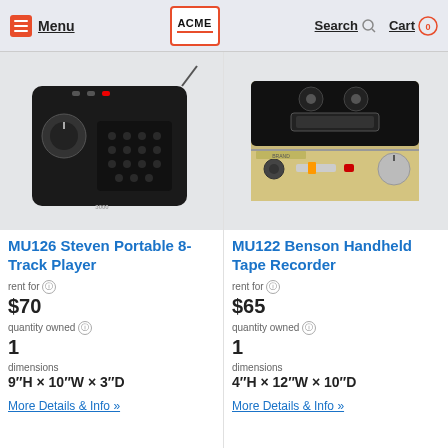Menu | ACME | Search | Cart 0
[Figure (photo): Black portable 8-track player with speaker grille and controls]
MU126 Steven Portable 8-Track Player
rent for $70
quantity owned 1
dimensions 9″H × 10″W × 3″D
More Details & Info »
[Figure (photo): Gold and black handheld tape recorder with controls on front face]
MU122 Benson Handheld Tape Recorder
rent for $65
quantity owned 1
dimensions 4″H × 12″W × 10″D
More Details & Info »